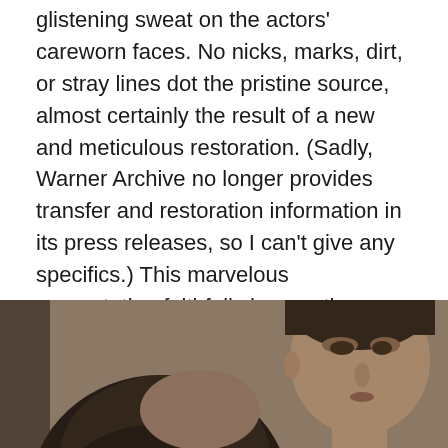glistening sweat on the actors' careworn faces. No nicks, marks, dirt, or stray lines dot the pristine source, almost certainly the result of a new and meticulous restoration. (Sadly, Warner Archive no longer provides transfer and restoration information in its press releases, so I can't give any specifics.) This marvelous presentation faithfully honors the naturalistic cinematography and completely revitalizes this low-budget, atmospheric film noir.
Audio Review
4.5 Stars out of 5
[Figure (photo): Black and white sepia-toned film noir still showing a woman with dark hair in the foreground (back of head visible) and a man's face in the right portion, serious expression, classic film noir aesthetic.]